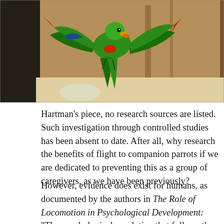[Figure (photo): A green parrot with spread wings flying indoors near wooden furniture, viewed from below]
Hartman's piece, no research sources are listed. Such investigation through controlled studies has been absent to date. After all, why research the benefits of flight to companion parrots if we are dedicated to preventing this as a group of caregivers, as we have been previously?
However, evidence does exist for humans, as documented by the authors in The Role of Locomotion in Psychological Development: “The psychological revolution that follows the onset of independent locomotion in the latter half of the infant’s first year provides one of the best illustrations of the intimate connection between action and psychological processes. In this paper, we